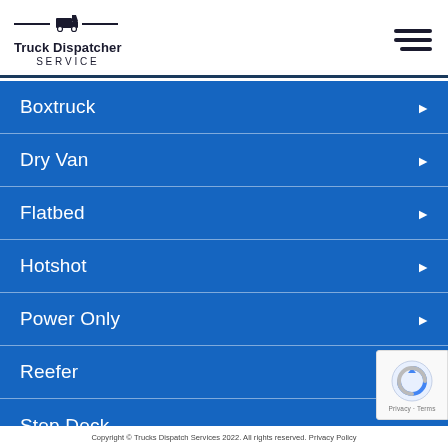Truck Dispatcher SERVICE
Boxtruck
Dry Van
Flatbed
Hotshot
Power Only
Reefer
Step Deck
Copyright © Trucks Dispatch Services 2022. All rights reserved. Privacy Policy